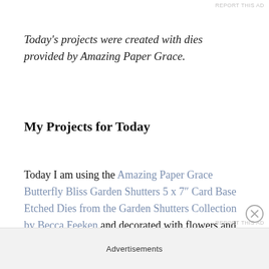REPORT THIS AD
Today's projects were created with dies provided by Amazing Paper Grace.
My Projects for Today
Today I am using the Amazing Paper Grace Butterfly Bliss Garden Shutters 5 x 7″ Card Base Etched Dies from the Garden Shutters Collection by Becca Feeken and decorated with flowers and leaves made from the Amazing Paper Grace Primrose Heart Façade Etched Dies from the Garden Shutters Collection by Becca
Advertisements
REPORT THIS AD